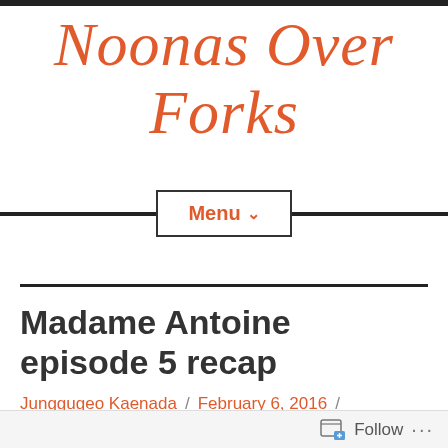Noonas Over Forks
Menu
Madame Antoine episode 5 recap
Junggugeo Kaenada / February 6, 2016 /
[Figure (photo): Top of a person's head with brown hair, partial photo at bottom of page]
Follow ...